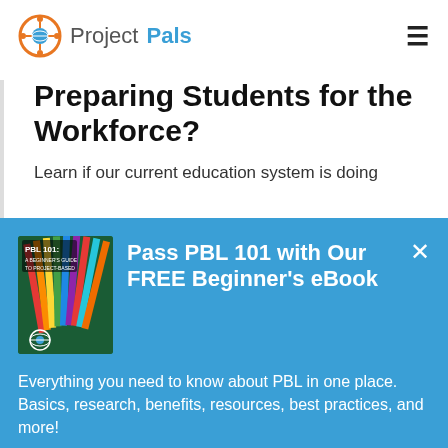ProjectPals
Preparing Students for the Workforce?
Learn if our current education system is doing
[Figure (screenshot): Popup banner with blue background showing PBL 101 ebook cover (colorful pencils), title 'Pass PBL 101 with Our FREE Beginner's eBook', description text, and a GRAB FREE EBOOK button.]
Pass PBL 101 with Our FREE Beginner's eBook
Everything you need to know about PBL in one place. Basics, research, benefits, resources, best practices, and more!
GRAB FREE EBOOK